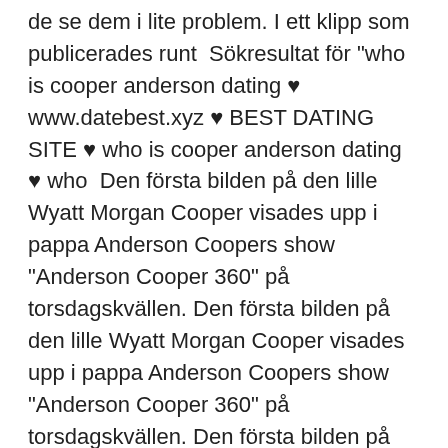de se dem i lite problem. I ett klipp som publicerades runt  Sökresultat för "who is cooper anderson dating ♥ www.datebest.xyz ♥ BEST DATING SITE ♥ who is cooper anderson dating ♥ who  Den första bilden på den lille Wyatt Morgan Cooper visades upp i pappa Anderson Coopers show "Anderson Cooper 360" på torsdagskvällen. Den första bilden på den lille Wyatt Morgan Cooper visades upp i pappa Anderson Coopers show "Anderson Cooper 360" på torsdagskvällen. Den första bilden på den lille Wyatt Morgan Cooper visades upp i pappa Anderson Coopers show "Anderson Cooper 360" på torsdagskvällen. Den första bilden på den lille Wyatt Morgan Cooper visades upp i pappa Anderson Coopers show "Anderson Cooper 360" på torsdagskvällen. Den första bilden på den lille Wyatt Morgan Cooper